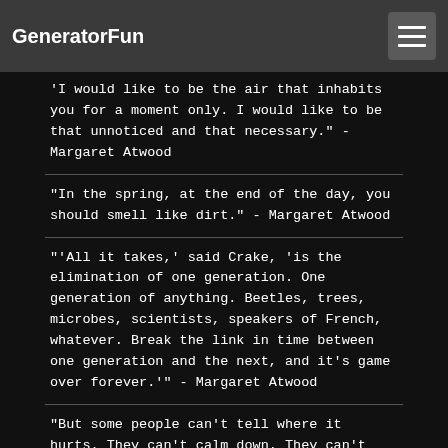GeneratorFun
'I would like to be the air that inhabits you for a moment only. I would like to be that unnoticed and that necessary.' - Margaret Atwood
"In the spring, at the end of the day, you should smell like dirt." - Margaret Atwood
"'All it takes,' said Crake, 'is the elimination of one generation. One generation of anything. Beetles, trees, microbes, scientists, speakers of French, whatever. Break the link in time between one generation and the next, and it's game over forever.'" - Margaret Atwood
"But some people can't tell where it hurts. They can't calm down. They can't ever stop howling." -